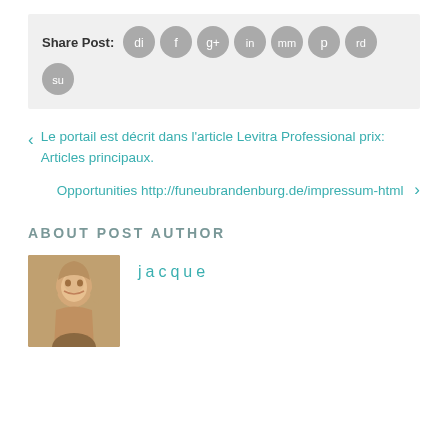Share Post: [social icons: digg, facebook, google+, linkedin, myspace, pinterest, reddit, stumbleupon]
< Le portail est décrit dans l'article Levitra Professional prix: Articles principaux.
Opportunities http://funeubrandenburg.de/impressum-html >
ABOUT POST AUTHOR
jacque
[Figure (photo): Portrait photo of a young woman with long straight blonde/light brown hair, smiling slightly.]